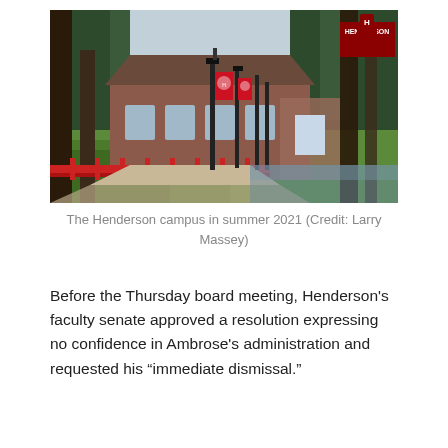[Figure (photo): Photograph of the Henderson State University campus in summer 2021. Shows a brick academic building with a pitched roof, green lawn, tall pine trees, a red metal footbridge railing in the foreground, lamp posts with red Henderson banners, and a Henderson logo banner on a pole at the upper right.]
The Henderson campus in summer 2021 (Credit: Larry Massey)
Before the Thursday board meeting, Henderson's faculty senate approved a resolution expressing no confidence in Ambrose's administration and requested his “immediate dismissal.”